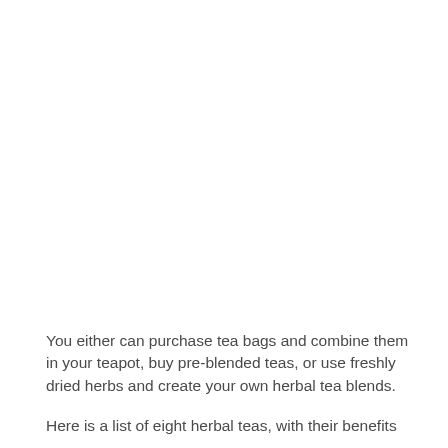You either can purchase tea bags and combine them in your teapot, buy pre-blended teas, or use freshly dried herbs and create your own herbal tea blends.
Here is a list of eight herbal teas, with their benefits